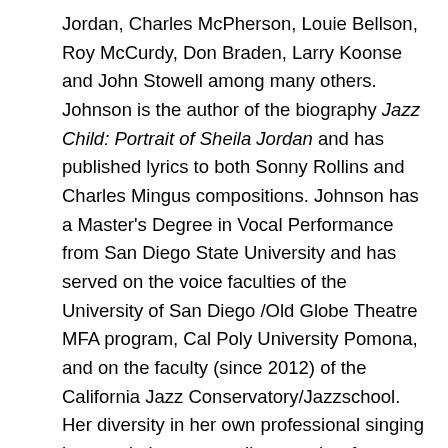Jordan, Charles McPherson, Louie Bellson, Roy McCurdy, Don Braden, Larry Koonse and John Stowell among many others. Johnson is the author of the biography Jazz Child: Portrait of Sheila Jordan and has published lyrics to both Sonny Rollins and Charles Mingus compositions. Johnson has a Master's Degree in Vocal Performance from San Diego State University and has served on the voice faculties of the University of San Diego /Old Globe Theatre MFA program, Cal Poly University Pomona, and on the faculty (since 2012) of the California Jazz Conservatory/Jazzschool. Her diversity in her own professional singing has made her an excellent teacher for cross over styles teaching everything from jazz, classical, musical theater, pop, and other genres. She has a strong background in vocal pedagogy and vocal rehabilitation assisting singers with difficult vocal issues. She continues to give master classes, online classes and teaches privately at www.vocalvisions.net. For more